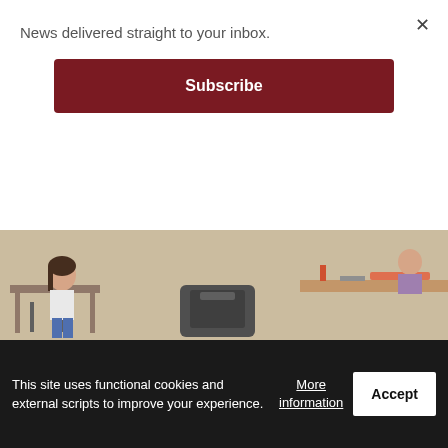News delivered straight to your inbox.
Subscribe
[Figure (photo): Classroom scene with students sitting at desks, backpacks visible]
NMC engages CNMI governor’s BOOST training program participants
[Figure (photo): Military soldiers in camouflage gear lying in field aiming rifles]
This site uses functional cookies and external scripts to improve your experience.
More information
Accept